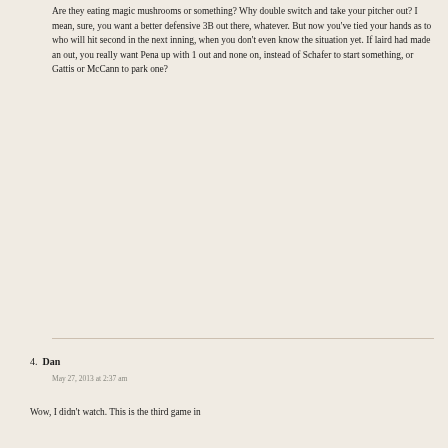Are they eating magic mushrooms or something? Why double switch and take your pitcher out? I mean, sure, you want a better defensive 3B out there, whatever. But now you've tied your hands as to who will hit second in the next inning, when you don't even know the situation yet. If laird had made an out, you really want Pena up with 1 out and none on, instead of Schafer to start something, or Gattis or McCann to park one?
4. Dan
May 27, 2013 at 2:37 am
Wow, I didn't watch. This is the third game in